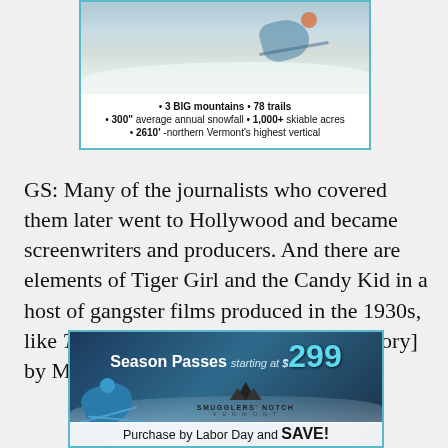[Figure (infographic): Top portion of a ski resort advertisement showing a skier on snowy slopes with bullet points: 3 BIG mountains • 78 trails, 300" average annual snowfall • 1,000+ skiable acres, 2610' -northern Vermont's highest vertical. Bordered with teal/cyan border.]
GS: Many of the journalists who covered them later went to Hollywood and became screenwriters and producers. And there are elements of Tiger Girl and the Candy Kid in a host of gangster films produced in the 1930s, like The Roaring Twenties [based on a story] by Mark Hellinger.
[Figure (infographic): Smuggler's Notch Vermont ski resort advertisement. Season Passes starting at $299. Shows skier on snowy slope with Smuggler's Notch mountain logo. Text: Purchase by Labor Day and SAVE!]